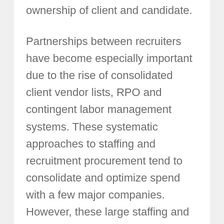ownership of client and candidate.
Partnerships between recruiters have become especially important due to the rise of consolidated client vendor lists, RPO and contingent labor management systems. These systematic approaches to staffing and recruitment procurement tend to consolidate and optimize spend with a few major companies. However, these large staffing and recruiting providers cannot provide all of the needed candidates for a geographically diverse, large employer. Most first-tier staffing and recruiting firms